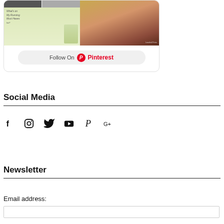[Figure (screenshot): Pinterest widget showing a collage of images including a running woman with text 'What's on My Running Must Haves list?' and a food photo, with a Follow On Pinterest button below.]
Social Media
[Figure (infographic): Row of social media icons: Facebook (f), Instagram (camera), Twitter (bird), YouTube (play button), Pinterest (P), Google+ (G+)]
Newsletter
Email address: